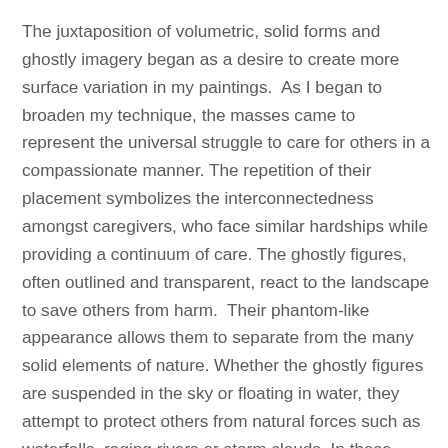The juxtaposition of volumetric, solid forms and ghostly imagery began as a desire to create more surface variation in my paintings.  As I began to broaden my technique, the masses came to represent the universal struggle to care for others in a compassionate manner.  The repetition of their placement symbolizes the interconnectedness amongst caregivers, who face similar hardships while providing a continuum of care.  The ghostly figures, often outlined and transparent, react to the landscape to save others from harm.  Their phantom-like appearance allows them to separate from the many solid elements of nature. Whether the ghostly figures are suspended in the sky or floating in water, they attempt to protect others from natural forces such as waterfalls, raging rivers or storm clouds. In these situations, nature often triumphs, representing the power of the uncontrollable.